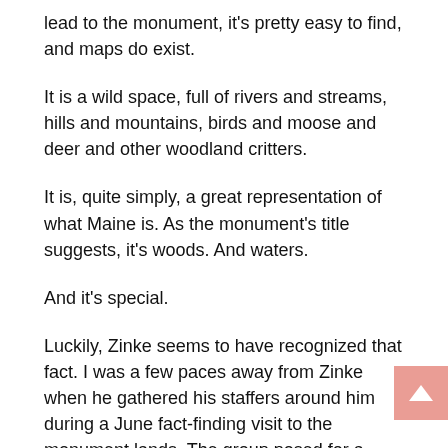lead to the monument, it's pretty easy to find, and maps do exist.
It is a wild space, full of rivers and streams, hills and mountains, birds and moose and deer and other woodland critters.
It is, quite simply, a great representation of what Maine is. As the monument's title suggests, it's woods. And waters.
And it's special.
Luckily, Zinke seems to have recognized that fact. I was a few paces away from Zinke when he gathered his staffers around him during a June fact-finding visit to the monument lands. The group posed for a photo with magnificent Mount Katahdin in the background.